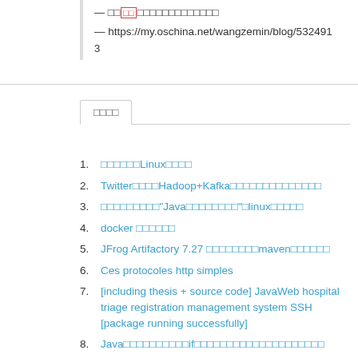— □□[□□]□□□□□□□□□□□□□
— https://my.oschina.net/wangzemin/blog/532491
3
□□□□
□□□□□□Linux□□□□
Twitter□□□□Hadoop+Kafka□□□□□□□□□□□□□□
□□□□□□□□□"Java□□□□□□□□"□linux□□□□□
docker □□□□□□
JFrog Artifactory 7.27 □□□□□□□□maven□□□□□□
Ces protocoles http simples
[including thesis + source code] JavaWeb hospital triage registration management system SSH [package running successfully]
Java□□□□□□□□□□if□□□□□□□□□□□□□□□□□□□□